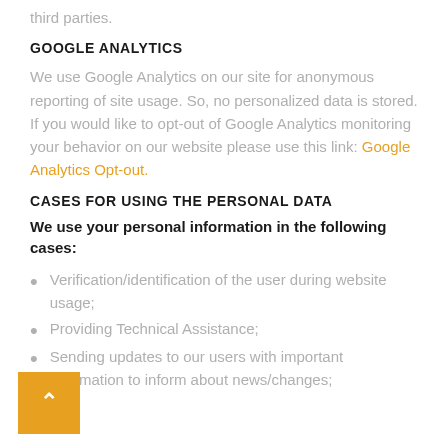third parties.
GOOGLE ANALYTICS
We use Google Analytics on our site for anonymous reporting of site usage. So, no personalized data is stored. If you would like to opt-out of Google Analytics monitoring your behavior on our website please use this link: Google Analytics Opt-out.
CASES FOR USING THE PERSONAL DATA
We use your personal information in the following cases:
Verification/identification of the user during website usage;
Providing Technical Assistance;
Sending updates to our users with important information to inform about news/changes;